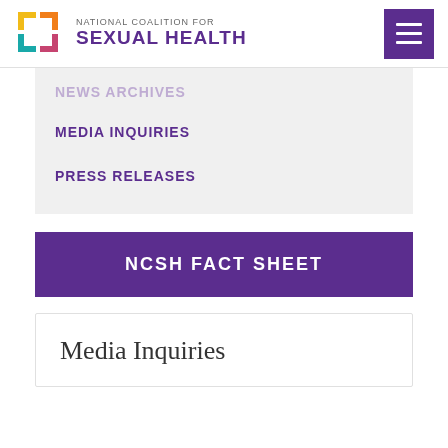[Figure (logo): National Coalition for Sexual Health logo with colorful compass-like icon and text]
NEWS ARCHIVES
MEDIA INQUIRIES
PRESS RELEASES
NCSH FACT SHEET
Media Inquiries